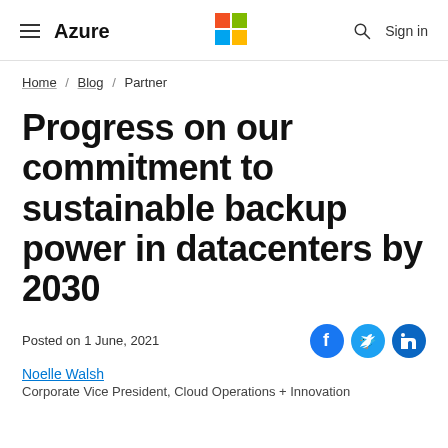Azure | Microsoft
Home / Blog / Partner
Progress on our commitment to sustainable backup power in datacenters by 2030
Posted on 1 June, 2021
Noelle Walsh
Corporate Vice President, Cloud Operations + Innovation